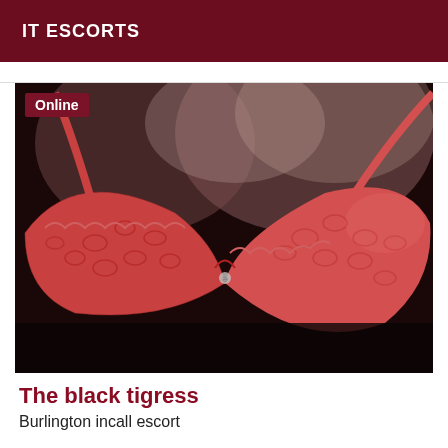IT ESCORTS
[Figure (photo): Close-up photo of a person wearing a pink/red lace bra with an 'Online' badge overlay in the top left corner.]
The black tigress
Burlington incall escort